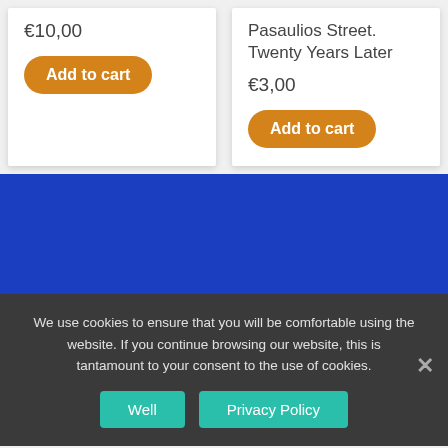€10,00
Add to cart
Pasaulios Street. Twenty Years Later
€3,00
Add to cart
[Figure (other): Blue background section, likely a banner or navigation area]
We use cookies to ensure that you will be comfortable using the website. If you continue browsing our website, this is tantamount to your consent to the use of cookies.
Well
Privacy Policy